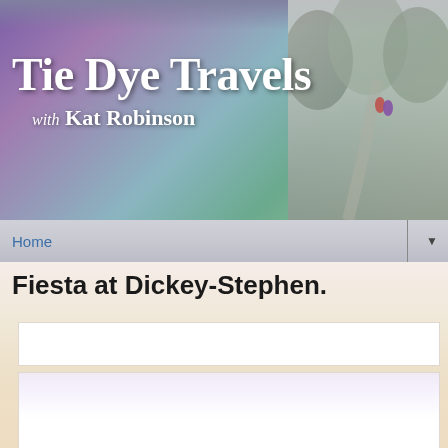[Figure (screenshot): Website header banner for 'Tie Dye Travels with Kat Robinson' showing purple-green gradient background with photo of hikers on the right side]
Home
Fiesta at Dickey-Stephen.